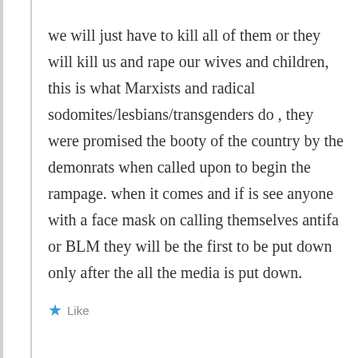we will just have to kill all of them or they will kill us and rape our wives and children, this is what Marxists and radical sodomites/lesbians/transgenders do , they were promised the booty of the country by the demonrats when called upon to begin the rampage. when it comes and if is see anyone with a face mask on calling themselves antifa or BLM they will be the first to be put down only after the all the media is put down.
Like